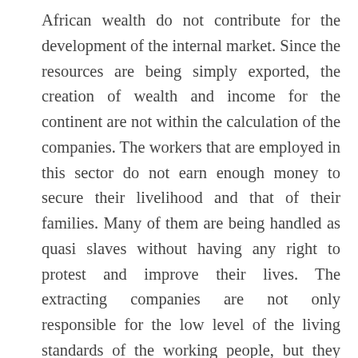African wealth do not contribute for the development of the internal market. Since the resources are being simply exported, the creation of wealth and income for the continent are not within the calculation of the companies. The workers that are employed in this sector do not earn enough money to secure their livelihood and that of their families. Many of them are being handled as quasi slaves without having any right to protest and improve their lives. The extracting companies are not only responsible for the low level of the living standards of the working people, but they also inflict heavy damages on the environment. Since many African countries do not have social and ecological standards, extracting companies do whatever they want and harm the entire social fabric of the community where they are engaged. Reports from